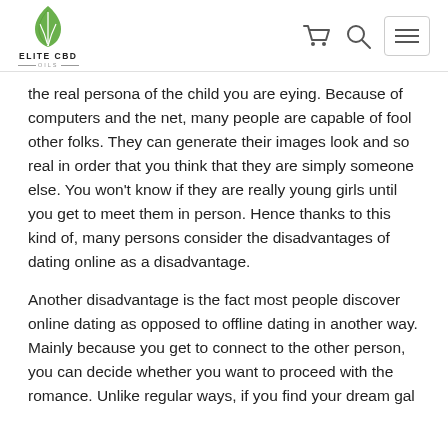[Figure (logo): Elite CBD Oils logo with green leaf icon]
the real persona of the child you are eying. Because of computers and the net, many people are capable of fool other folks. They can generate their images look and so real in order that you think that they are simply someone else. You won't know if they are really young girls until you get to meet them in person. Hence thanks to this kind of, many persons consider the disadvantages of dating online as a disadvantage.
Another disadvantage is the fact most people discover online dating as opposed to offline dating in another way. Mainly because you get to connect to the other person, you can decide whether you want to proceed with the romance. Unlike regular ways, if you find your dream gal